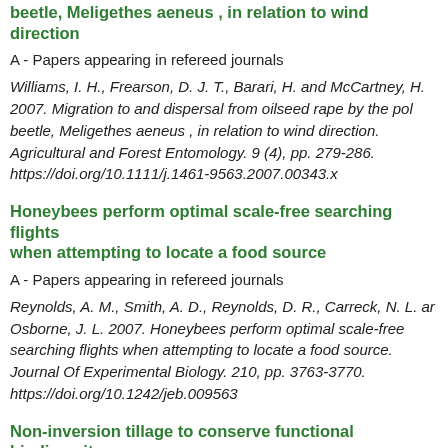beetle, Meligethes aeneus , in relation to wind direction
A - Papers appearing in refereed journals
Williams, I. H., Frearson, D. J. T., Barari, H. and McCartney, H. 2007. Migration to and dispersal from oilseed rape by the pollen beetle, Meligethes aeneus , in relation to wind direction. Agricultural and Forest Entomology. 9 (4), pp. 279-286. https://doi.org/10.1111/j.1461-9563.2007.00343.x
Honeybees perform optimal scale-free searching flights when attempting to locate a food source
A - Papers appearing in refereed journals
Reynolds, A. M., Smith, A. D., Reynolds, D. R., Carreck, N. L. and Osborne, J. L. 2007. Honeybees perform optimal scale-free searching flights when attempting to locate a food source. Journal Of Experimental Biology. 210, pp. 3763-3770. https://doi.org/10.1242/jeb.009563
Non-inversion tillage to conserve functional biodiversity for biocontrol of oilseed rape pests
C1 - Edited contributions to conferences/learned societies